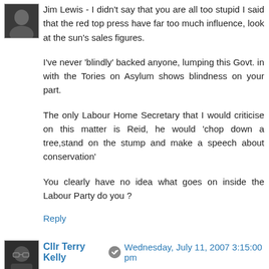[Figure (photo): Avatar/profile photo of commenter, small square image, dark tones]
Jim Lewis - I didn't say that you are all too stupid I said that the red top press have far too much influence, look at the sun's sales figures.

I've never 'blindly' backed anyone, lumping this Govt. in with the Tories on Asylum shows blindness on your part.

The only Labour Home Secretary that I would criticise on this matter is Reid, he would 'chop down a tree,stand on the stump and make a speech about conservation'

You clearly have no idea what goes on inside the Labour Party do you ?
Reply
[Figure (photo): Avatar/profile photo of Cllr Terry Kelly, small square image]
Cllr Terry Kelly  Wednesday, July 11, 2007 3:15:00 pm
Patrick - I'm sorry to have to say this but, this has the whiff of playground desperation about it.

Did the world start 200 yrs. ago ? all the people who have